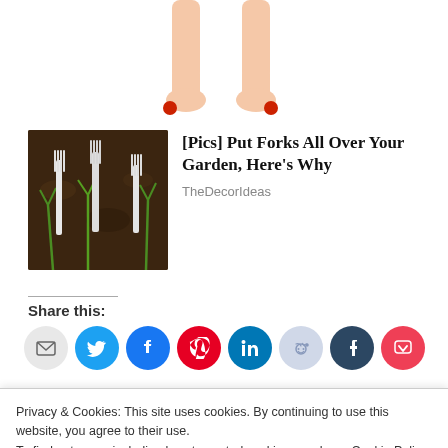[Figure (illustration): Partial image of cartoon/illustrated legs with red ankles, cropped at top of page]
[Figure (photo): Photo of forks stuck in garden soil with green plant sprouts]
[Pics] Put Forks All Over Your Garden, Here's Why
TheDecorIdeas
Share this:
[Figure (infographic): Row of social sharing buttons: Email, Twitter, Facebook, Pinterest, LinkedIn, Reddit, Tumblr, Pocket]
Privacy & Cookies: This site uses cookies. By continuing to use this website, you agree to their use.
To find out more, including how to control cookies, see here: Cookie Policy
Close and accept